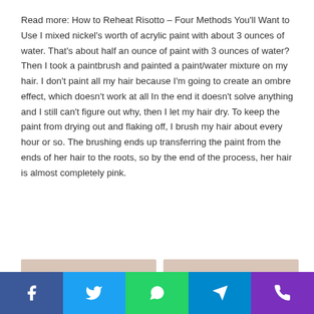Read more: How to Reheat Risotto – Four Methods You'll Want to Use I mixed nickel's worth of acrylic paint with about 3 ounces of water. That's about half an ounce of paint with 3 ounces of water? Then I took a paintbrush and painted a paint/water mixture on my hair. I don't paint all my hair because I'm going to create an ombre effect, which doesn't work at all In the end it doesn't solve anything and I still can't figure out why, then I let my hair dry. To keep the paint from drying out and flaking off, I brush my hair about every hour or so. The brushing ends up transferring the paint from the ends of her hair to the roots, so by the end of the process, her hair is almost completely pink.
[Figure (photo): Two side-by-side images with beige/tan backgrounds. Left image shows a partial view of pink/red hair. Right image is a plain beige rectangle.]
Social share bar with Facebook, Twitter, WhatsApp, Telegram, and Phone icons